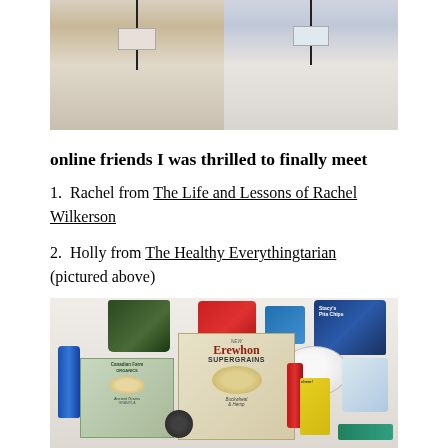[Figure (photo): Two women standing together for a photo, both wearing lanyards, against a dark wood background]
online friends I was thrilled to finally meet
1.  Rachel from The Life and Lessons of Rachel Wilkerson
2.  Holly from The Healthy Everythingtarian (pictured above)
[Figure (photo): Collection of health food products laid out on a white surface, including Erewhon Supergrains cereal box, Canadian Farm Organics cereal box, blue snack bag, red bag of food, green bag of food, a white bowl, a blue water bottle, and various other health food items]